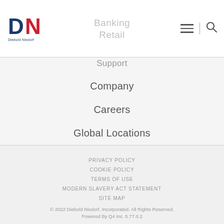[Figure (logo): Diebold Nixdorf logo with DN letters in blue and red]
Banking
Retail
Support
Company
Careers
Global Locations
PRIVACY POLICY
COOKIE POLICY
TERMS OF USE
MODERN SLAVERY ACT STATEMENT
SITE MAP
© 2022 Diebold Nixdorf, Incorporated. All Rights Reserved.
Powered By Q4 Inc. 5.77.0.2